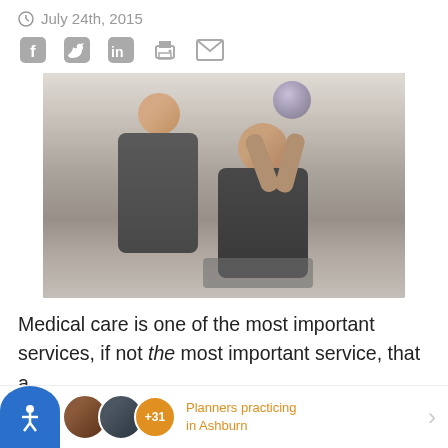July 24th, 2015
[Figure (illustration): Social media sharing icons: Facebook, Twitter, LinkedIn, Print, Email]
[Figure (photo): A physical therapist assists a young patient in a wheelchair lifting a ball overhead in a gym setting]
Medical care is one of the most important services, if not the most important service, that a
Planners practicing in Ashburn